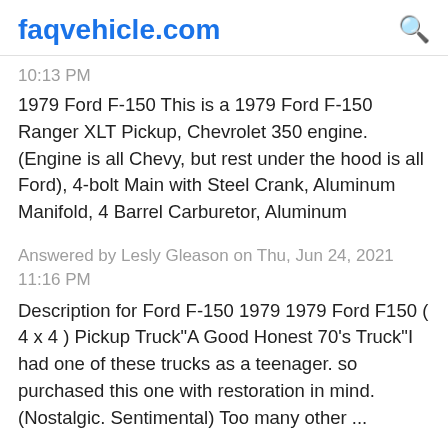faqvehicle.com
10:13 PM
1979 Ford F-150 This is a 1979 Ford F-150 Ranger XLT Pickup, Chevrolet 350 engine. (Engine is all Chevy, but rest under the hood is all Ford), 4-bolt Main with Steel Crank, Aluminum Manifold, 4 Barrel Carburetor, Aluminum
Answered by Lesly Gleason on Thu, Jun 24, 2021 11:16 PM
Description for Ford F-150 1979 1979 Ford F150 ( 4 x 4 ) Pickup Truck"A Good Honest 70's Truck"I had one of these trucks as a teenager. so purchased this one with restoration in mind. (Nostalgic. Sentimental) Too many other ...